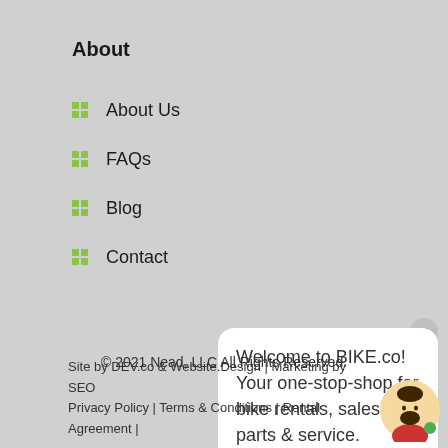About
About Us
FAQs
Blog
Contact
Welcome to BIKE.co! Your one-stop-shop for bike rentals, sales, parts & service.
© 2021 Nead, LLC All Rights Reserved.
Site by DEV.co & Website.Design | Marketing by SEO... Privacy Policy | Terms & Conditions | Rental Agreement |